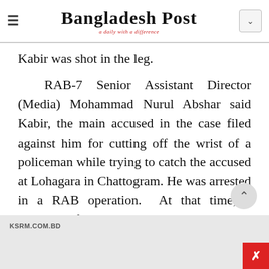Bangladesh Post — a daily with a difference
Kabir was shot in the leg.
RAB-7 Senior Assistant Director (Media) Mohammad Nurul Abshar said Kabir, the main accused in the case filed against him for cutting off the wrist of a policeman while trying to catch the accused at Lohagara in Chattogram. He was arrested in a RAB operation.  At that time, a member of RAB was injured by Kabir's knife.
[Figure (screenshot): Advertisement banner from KSRM.COM.BD at the bottom of the page with a red close button.]